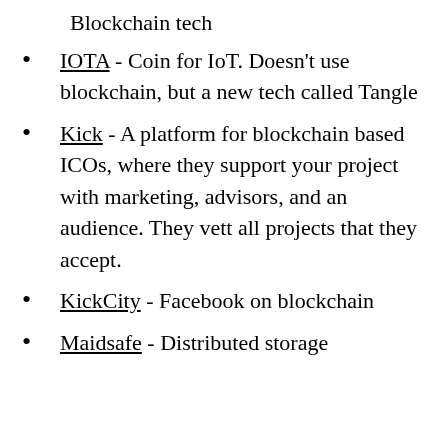Blockchain tech
IOTA - Coin for IoT. Doesn't use blockchain, but a new tech called Tangle
Kick - A platform for blockchain based ICOs, where they support your project with marketing, advisors, and an audience. They vett all projects that they accept.
KickCity - Facebook on blockchain
Maidsafe - Distributed storage